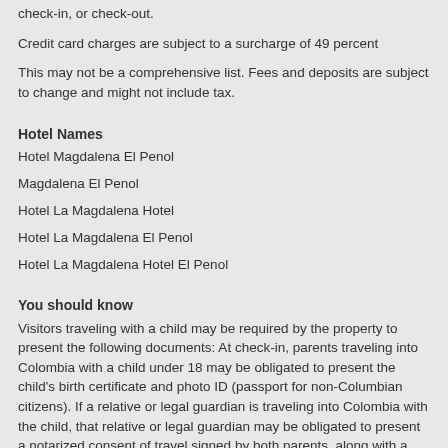check-in, or check-out.
Credit card charges are subject to a surcharge of 49 percent
This may not be a comprehensive list. Fees and deposits are subject to change and might not include tax.
Hotel Names
Hotel Magdalena El Penol
Magdalena El Penol
Hotel La Magdalena Hotel
Hotel La Magdalena El Penol
Hotel La Magdalena Hotel El Penol
You should know
Visitors traveling with a child may be required by the property to present the following documents: At check-in, parents traveling into Colombia with a child under 18 may be obligated to present the child's birth certificate and photo ID (passport for non-Columbian citizens). If a relative or legal guardian is traveling into Colombia with the child, that relative or legal guardian may be obligated to present a notarized consent of travel signed by both parents, along with a copy of both parents' ID. If only one parent is traveling into Colombia with the child, that parent may be required to